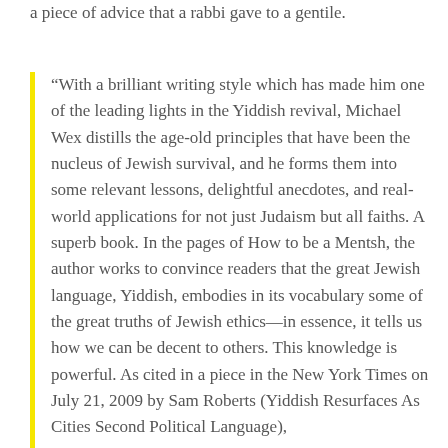a piece of advice that a rabbi gave to a gentile.
“With a brilliant writing style which has made him one of the leading lights in the Yiddish revival, Michael Wex distills the age-old principles that have been the nucleus of Jewish survival, and he forms them into some relevant lessons, delightful anecdotes, and real-world applications for not just Judaism but all faiths. A superb book. In the pages of How to be a Mentsh, the author works to convince readers that the great Jewish language, Yiddish, embodies in its vocabulary some of the great truths of Jewish ethics—in essence, it tells us how we can be decent to others. This knowledge is powerful. As cited in a piece in the New York Times on July 21, 2009 by Sam Roberts (Yiddish Resurfaces As Cities Second Political Language),